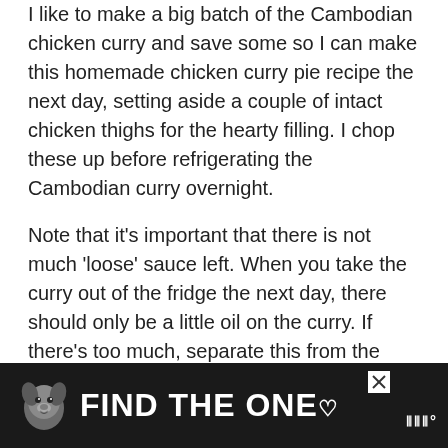I like to make a big batch of the Cambodian chicken curry and save some so I can make this homemade chicken curry pie recipe the next day, setting aside a couple of intact chicken thighs for the hearty filling. I chop these up before refrigerating the Cambodian curry overnight.
Note that it's important that there is not much 'loose' sauce left. When you take the curry out of the fridge the next day, there should only be a little oil on the curry. If there's too much, separate this from the curry as this will possibly leak out of the casings.
[Figure (other): Orange circular like/heart button floating on left side of page]
[Figure (other): White circular share button with share icon floating on left side of page]
[Figure (other): Dark advertisement banner at bottom: dog image and text FIND THE ONE with heart, close button and logo]